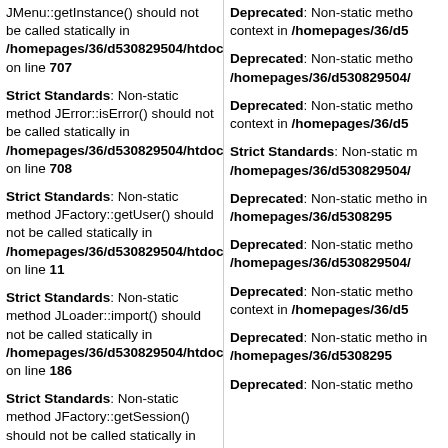JMenu::getInstance() should not be called statically in /homepages/36/d530829504/htdocs/a on line 707
Strict Standards: Non-static method JError::isError() should not be called statically in /homepages/36/d530829504/htdocs/a on line 708
Strict Standards: Non-static method JFactory::getUser() should not be called statically in /homepages/36/d530829504/htdocs/a on line 11
Strict Standards: Non-static method JLoader::import() should not be called statically in /homepages/36/d530829504/htdocs/a on line 186
Strict Standards: Non-static method JFactory::getSession() should not be called statically in /homepages/36/d530829504/htdocs/a on line 163
Deprecated: Non-static method context in /homepages/36/d5
Deprecated: Non-static method /homepages/36/d530829504/
Deprecated: Non-static method context in /homepages/36/d5
Strict Standards: Non-static method /homepages/36/d530829504/
Deprecated: Non-static method in /homepages/36/d5308295
Deprecated: Non-static method /homepages/36/d530829504/
Deprecated: Non-static method context in /homepages/36/d5
Deprecated: Non-static method in /homepages/36/d5308295
Deprecated: Non-static method